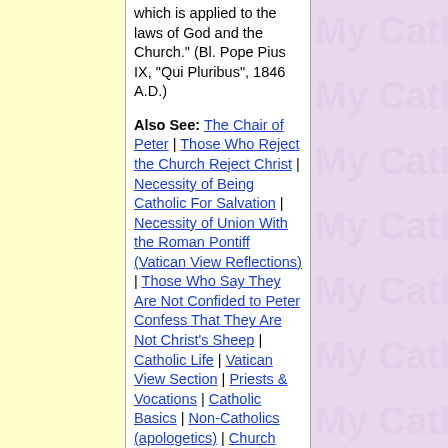which is applied to the laws of God and the Church." (Bl. Pope Pius IX, "Qui Pluribus", 1846 A.D.)
Also See: The Chair of Peter | Those Who Reject the Church Reject Christ | Necessity of Being Catholic For Salvation | Necessity of Union With the Roman Pontiff (Vatican View Reflections) | Those Who Say They Are Not Confided to Peter Confess That They Are Not Christ's Sheep | Catholic Life | Vatican View Section | Priests & Vocations | Catholic Basics | Non-Catholics (apologetics) | Church (Topical Scripture)